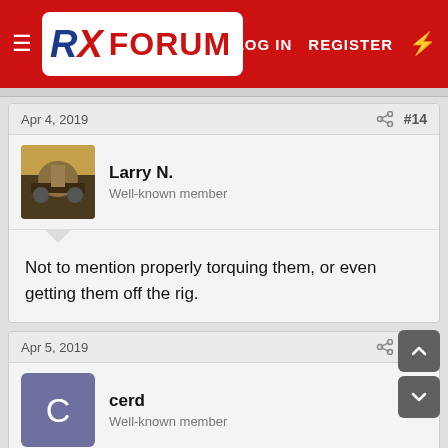RX FORUM — LOG IN  REGISTER
Apr 4, 2019   #14
Larry N.
Well-known member
Not to mention properly torquing them, or even getting them off the rig.
Apr 5, 2019   #15
cerd
Well-known member
Larry N. said:
Not to mention properly torquing them, or even getting